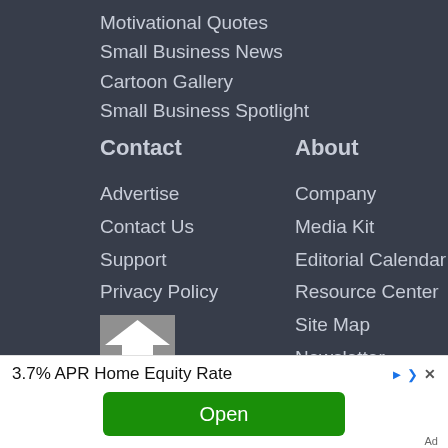Motivational Quotes
Small Business News
Cartoon Gallery
Small Business Spotlight
Contact
About
Advertise
Company
Contact Us
Media Kit
Support
Editorial Calendar
Privacy Policy
Resource Center
Terms
Site Map
Newsletter
Our Other Site
[Figure (illustration): House icon / logo thumbnail]
3.7% APR Home Equity Rate
Open
Ad